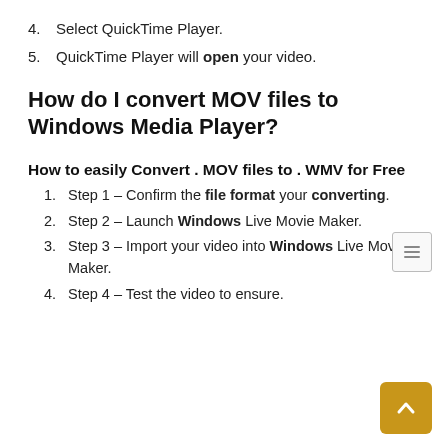4. Select QuickTime Player.
5. QuickTime Player will open your video.
How do I convert MOV files to Windows Media Player?
How to easily Convert . MOV files to . WMV for Free
1. Step 1 – Confirm the file format your converting.
2. Step 2 – Launch Windows Live Movie Maker.
3. Step 3 – Import your video into Windows Live Movie Maker.
4. Step 4 – Test the video to ensure.